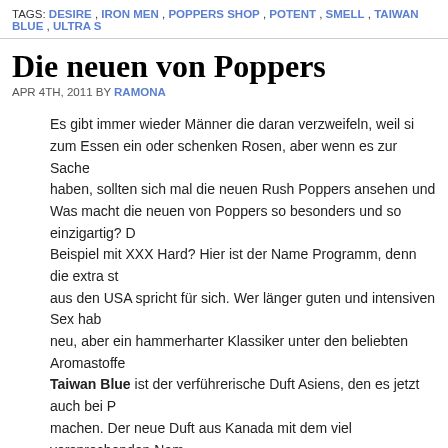TAGS: DESIRE, IRON MEN, POPPERS SHOP, POTENT, SMELL, TAIWAN BLUE, ULTRA S
Die neuen von Poppers
APR 4TH, 2011 BY RAMONA
Es gibt immer wieder Männer die daran verzweifeln, weil si... zum Essen ein oder schenken Rosen, aber wenn es zur Sache... haben, sollten sich mal die neuen Rush Poppers ansehen und... Was macht die neuen von Poppers so besonders und so einzigartig? D... Beispiel mit XXX Hard? Hier ist der Name Programm, denn die extra st... aus den USA spricht für sich. Wer länger guten und intensiven Sex hab... neu, aber ein hammerharter Klassiker unter den beliebten Aromastoffe... Taiwan Blue ist der verführerische Duft Asiens, den es jetzt auch bei P... machen. Der neue Duft aus Kanada mit dem viel versprechenden Nam... macht. Willkommen im Dschungel der Lust, könnte es bei Jungle Juice... unbedingt auf Strong Rush Poppers und auf Ultra Strong Rush Poppers... Und wo kann man Poppers kaufen? Natürlich direkt online in unsere...
TAGS: DÜFTE, SCHARFMACHER, SEX • POSTED IN DEUTSCHE ARTIKEL, POPPERS B...